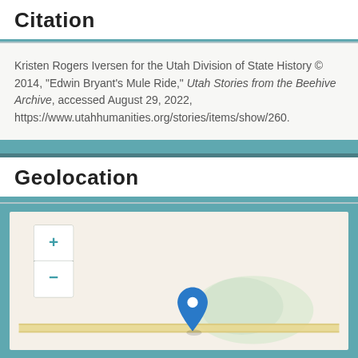Citation
Kristen Rogers Iversen for the Utah Division of State History © 2014, "Edwin Bryant's Mule Ride," Utah Stories from the Beehive Archive, accessed August 29, 2022, https://www.utahhumanities.org/stories/items/show/260.
Geolocation
[Figure (map): Interactive map showing a location marker (blue pin) over a beige/tan map background with a road running horizontally and a light green hill landform. Zoom in (+) and zoom out (-) controls are visible in the upper left corner of the map.]